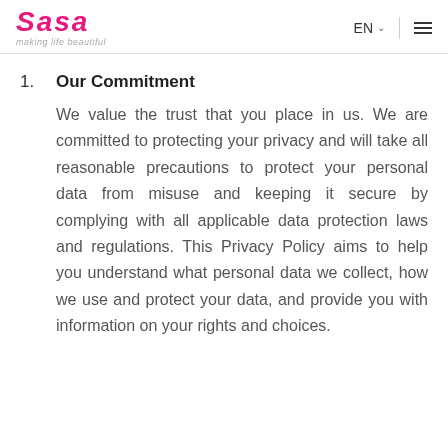Sasa — making life beautiful | EN
1. Our Commitment
We value the trust that you place in us. We are committed to protecting your privacy and will take all reasonable precautions to protect your personal data from misuse and keeping it secure by complying with all applicable data protection laws and regulations. This Privacy Policy aims to help you understand what personal data we collect, how we use and protect your data, and provide you with information on your rights and choices.